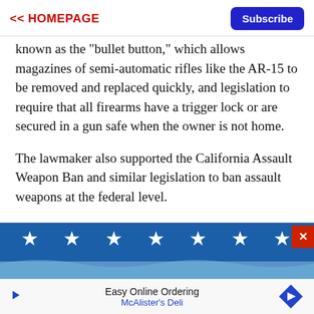<< HOMEPAGE   Subscribe
known as the "bullet button," which allows magazines of semi-automatic rifles like the AR-15 to be removed and replaced quickly, and legislation to require that all firearms have a trigger lock or are secured in a gun safe when the owner is not home.
The lawmaker also supported the California Assault Weapon Ban and similar legislation to ban assault weapons at the federal level.
[Figure (photo): American flag image showing white stars on blue background, partially visible]
Easy Online Ordering
McAlister's Deli